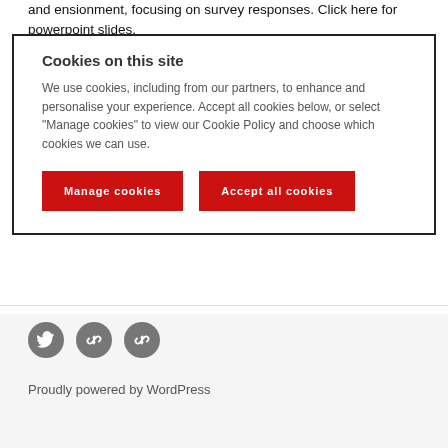and ensionment, focusing on survey responses. Click here for powerpoint slides.
Cookies on this site
We use cookies, including from our partners, to enhance and personalise your experience. Accept all cookies below, or select "Manage cookies" to view our Cookie Policy and choose which cookies we can use.
Manage cookies
Accept all cookies
[Figure (illustration): Three circular social media icons: Twitter bird icon, and two link/chain icons, all grey circles on light grey background]
Proudly powered by WordPress